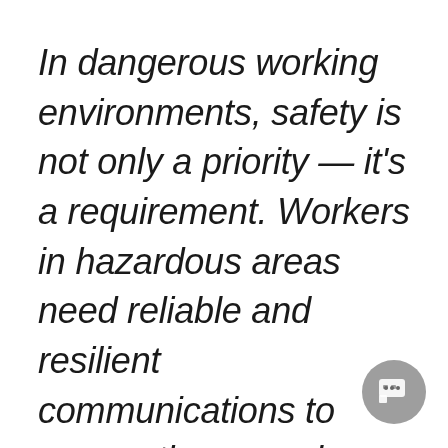In dangerous working environments, safety is not only a priority — it's a requirement. Workers in hazardous areas need reliable and resilient communications to ensure they remain safe. A newly implemented Tait DMR Tier 3 network is connecting mobile workforce in one of